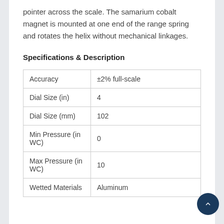pointer across the scale. The samarium cobalt magnet is mounted at one end of the range spring and rotates the helix without mechanical linkages.
Specifications & Description
| Accuracy | ±2% full-scale |
| Dial Size (in) | 4 |
| Dial Size (mm) | 102 |
| Min Pressure (in WC) | 0 |
| Max Pressure (in WC) | 10 |
| Wetted Materials | Aluminum |